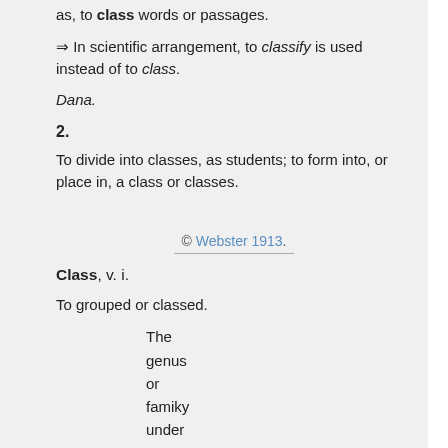as, to class words or passages.
⇒ In scientific arrangement, to classify is used instead of to class.
Dana.
2.
To divide into classes, as students; to form into, or place in, a class or classes.
© Webster 1913.
Class, v. i.
To grouped or classed.
The genus or famiky under which it classes.